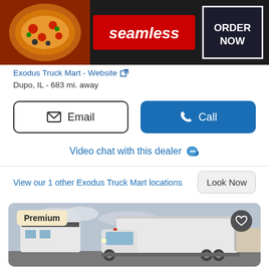[Figure (screenshot): Advertisement banner for Seamless food delivery with pizza image, Seamless logo in red, and ORDER NOW button on dark background]
$63,400
2015 H...
225,789...
Exodus Truck Mart - Website
Dupo, IL - 683 mi. away
Email
Call
Video chat with this dealer
View our 1 other Exodus Truck Mart locations
Look Now
[Figure (photo): White box truck (Hino) with large cargo box, parked in a lot with RVs visible in the background, cloudy sky. Premium badge visible top-left.]